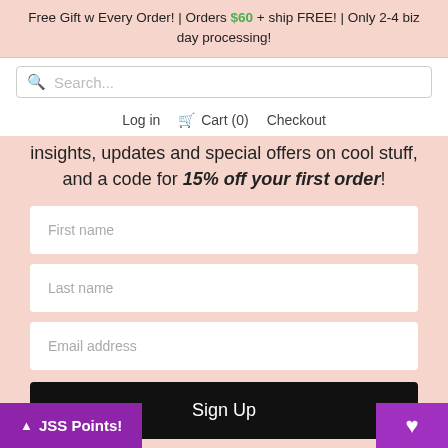Free Gift w Every Order! | Orders $60 + ship FREE! | Only 2-4 biz day processing!
[Figure (screenshot): Search bar with magnifying glass icon and placeholder text 'Search...']
Log in  Cart (0)  Checkout
insights, updates and special offers on cool stuff, and a code for 15% off your first order!
[Figure (screenshot): Sign-up form with First name, Last name, Email address input fields and a Sign Up button]
JSS Points!